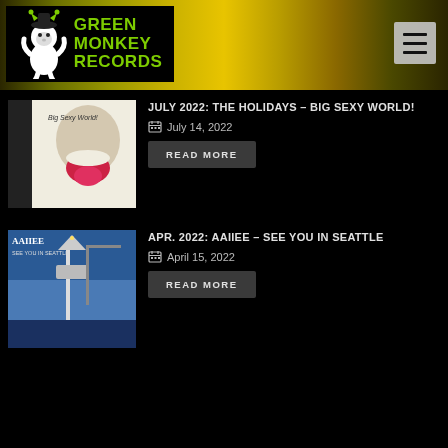[Figure (logo): Green Monkey Records logo with cartoon monkey mascot on black background with yellow-green text]
JULY 2022: THE HOLIDAYS – BIG SEXY WORLD!
July 14, 2022
READ MORE
APR. 2022: AAIIEE – SEE YOU IN SEATTLE
April 15, 2022
READ MORE